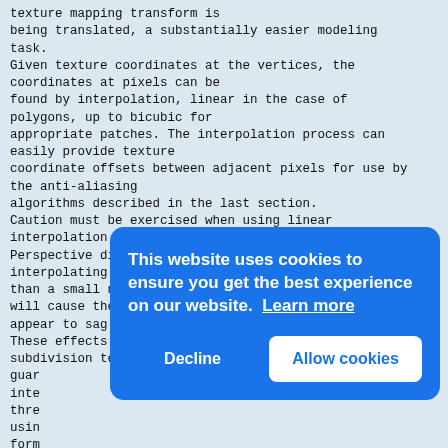texture mapping transform is
being translated, a substantially easier modeling
task.
Given texture coordinates at the vertices, the
coordinates at pixels can be
found by interpolation, linear in the case of
polygons, up to bicubic for
appropriate patches. The interpolation process can
easily provide texture
coordinate offsets between adjacent pixels for use by
the anti-aliasing
algorithms described in the last section.
Caution must be exercised when using linear
interpolation of texture values.
Perspective distortion must be taken into account if
interpolating over more
than a small number of pixels. Perspective effects
will cause the texture to
appear to sag and to move strangely during animation.
These effects can be avoided by using adaptive
subdivision techniques which
guar
inte
thre
usin
form
See
for
When
shap
asse
techniques must be employed. A
popular technique uses the normal vector to the
[Figure (screenshot): Cookie consent popup overlay on a blue rounded rectangle background. Text reads 'This website uses cookies to ensure you get the best experience on our website. Learn more' with two buttons: 'Decline' (left) and 'Allow cookies' (right, white background with blue text).]